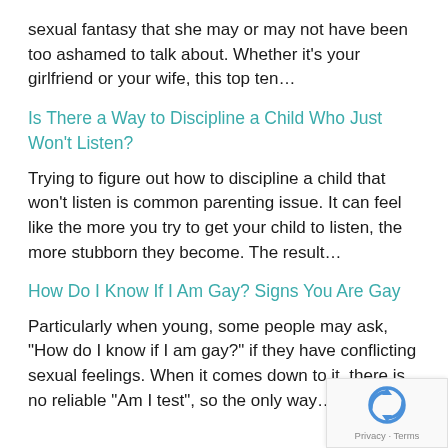sexual fantasy that she may or may not have been too ashamed to talk about. Whether it's your girlfriend or your wife, this top ten…
Is There a Way to Discipline a Child Who Just Won't Listen?
Trying to figure out how to discipline a child that won't listen is common parenting issue. It can feel like the more you try to get your child to listen, the more stubborn they become. The result…
How Do I Know If I Am Gay? Signs You Are Gay
Particularly when young, some people may ask, "How do I know if I am gay?" if they have conflicting sexual feelings. When it comes down to it, there is no reliable "Am I test", so the only way…
[Figure (logo): reCAPTCHA logo with Privacy and Terms text]